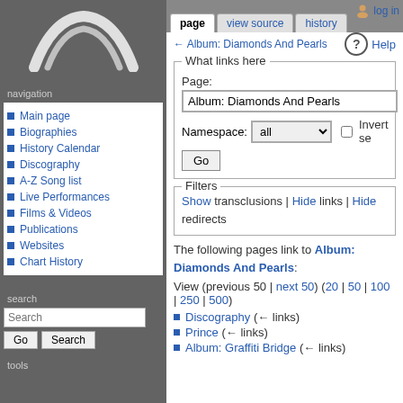[Figure (logo): White curved logo/crest shape on dark grey background]
Main page
Biographies
History Calendar
Discography
A-Z Song list
Live Performances
Films & Videos
Publications
Websites
Chart History
page | view source | history
← Album: Diamonds And Pearls
Help
What links here — Page: Album: Diamonds And Pearls  Namespace: all  Invert se  Go
Filters — Show transclusions | Hide links | Hide redirects
The following pages link to Album: Diamonds And Pearls:
View (previous 50 | next 50) (20 | 50 | 100 | 250 | 500)
Discography  (← links)
Prince  (← links)
Album: Graffiti Bridge  (← links)